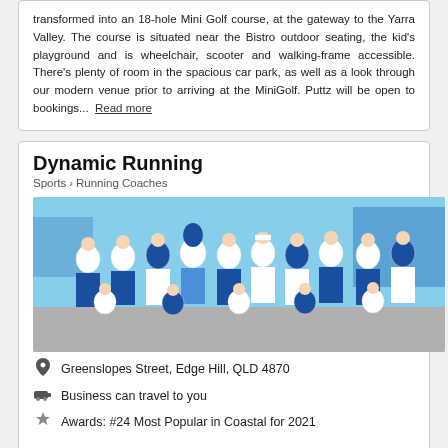transformed into an 18-hole Mini Golf course, at the gateway to the Yarra Valley. The course is situated near the Bistro outdoor seating, the kid's playground and is wheelchair, scooter and walking-frame accessible. There's plenty of room in the spacious car park, as well as a look through our modern venue prior to arriving at the MiniGolf. Puttz will be open to bookings... Read more
Dynamic Running
Sports > Running Coaches
[Figure (photo): Group photo of runners in blue and white athletic uniforms, posing together outdoors at what appears to be a running event.]
Greenslopes Street, Edge Hill, QLD 4870
Business can travel to you
Awards: #24 Most Popular in Coastal for 2021